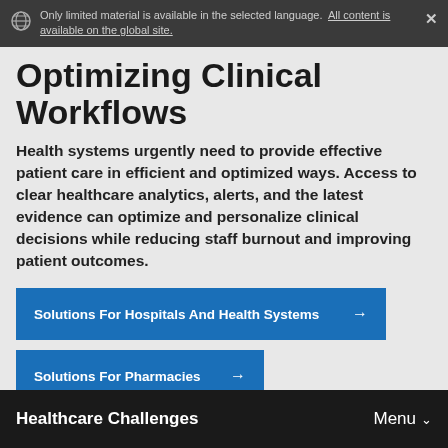Only limited material is available in the selected language. All content is available on the global site.
Optimizing Clinical Workflows
Health systems urgently need to provide effective patient care in efficient and optimized ways. Access to clear healthcare analytics, alerts, and the latest evidence can optimize and personalize clinical decisions while reducing staff burnout and improving patient outcomes.
Solutions For Hospitals And Health Systems →
Solutions For Pharmacies →
Healthcare Challenges   Menu